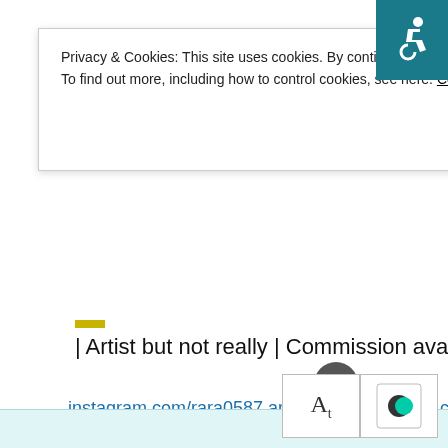[Figure (screenshot): Accessibility icon (wheelchair symbol) on teal background, top right corner]
Privacy & Cookies: This site uses cookies. By continuing to use this website you agree to their use.
To find out more, including how to control cookies, see here: Cookie Policy
Close and accept
| Artist but not really | Commission available|
instagram.com/rara0587.art/ | rara0587.tumblr.com | deviantart. ko-fi.com/rara0587